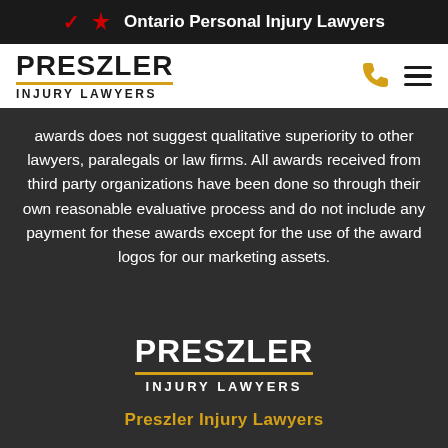🍁 Ontario Personal Injury Lawyers
[Figure (logo): Preszler Injury Lawyers logo with bold text and gold underline, phone icon and hamburger menu]
awards does not suggest qualitative superiority to other lawyers, paralegals or law firms. All awards received from third party organizations have been done so through their own reasonable evaluative process and do not include any payment for these awards except for the use of the award logos for our marketing assets.
[Figure (logo): Preszler Injury Lawyers footer logo in white text with gold underline on dark background]
Preszler Injury Lawyers